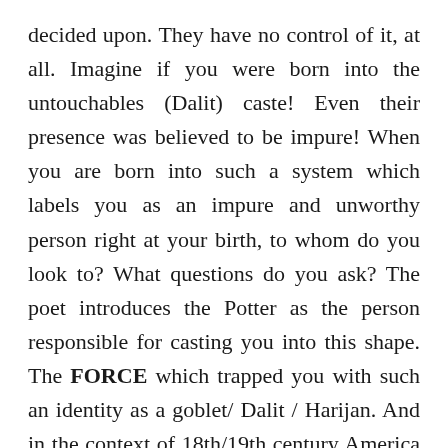decided upon. They have no control of it, at all. Imagine if you were born into the untouchables (Dalit) caste! Even their presence was believed to be impure! When you are born into such a system which labels you as an impure and unworthy person right at your birth, to whom do you look to? What questions do you ask? The poet introduces the Potter as the person responsible for casting you into this shape. The FORCE which trapped you with such an identity as a goblet/ Dalit / Harijan. And in the context of 18th/19th century America – an African slave. These people were born into these fates. Who created these ideologies which assert that certain people are slaves, less intelligent, under-privileged, impure, inferior while